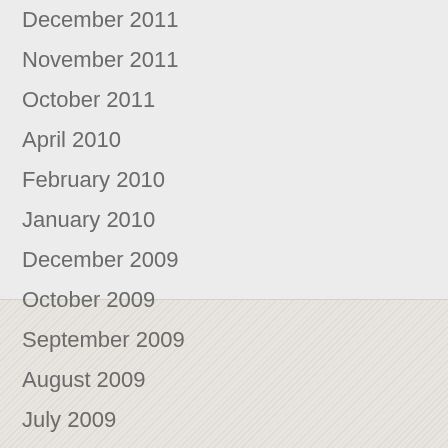December 2011
November 2011
October 2011
April 2010
February 2010
January 2010
December 2009
October 2009
September 2009
August 2009
July 2009